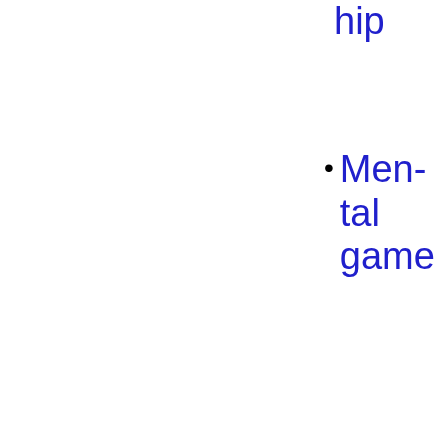hip
Mental game
OKR
Pillar 1: Grow